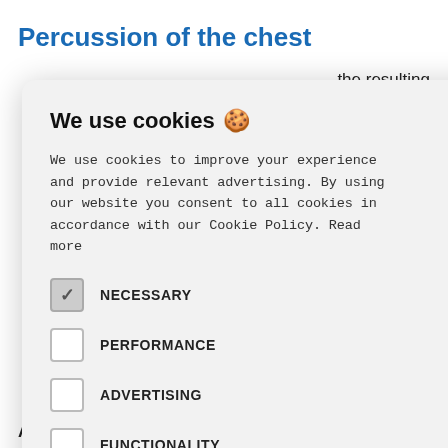Percussion of the chest
the resulting ant in healthy ion include:
nsity (e.g. , lobar
underlying
ness, (e.g.
[Figure (screenshot): Cookie consent modal dialog with title 'We use cookies 🍪', cookie policy text, checkboxes for NECESSARY (checked), PERFORMANCE, ADVERTISING, FUNCTIONALITY, OTHER, a green ACCEPT ALL button, and a close X button in the top right.]
Auscultate the patient's chest and identify any